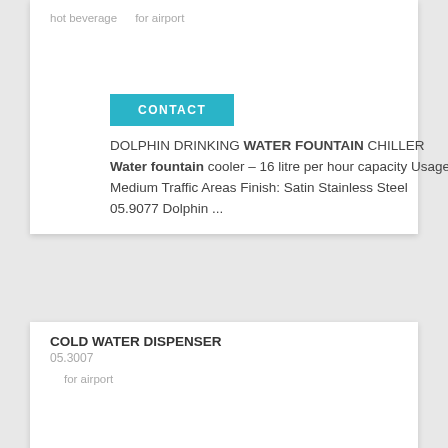hot beverage    for airport
DOLPHIN DRINKING WATER FOUNTAIN CHILLER Water fountain cooler – 16 litre per hour capacity Usage: Medium Traffic Areas Finish: Satin Stainless Steel 05.9077 Dolphin ...
COLD WATER DISPENSER
05.3007
for airport